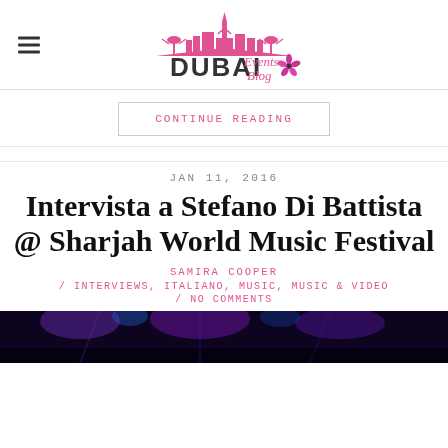Dubai Events Blog
CONTINUE READING
JAN 11, 2016
Intervista a Stefano Di Battista @ Sharjah World Music Festival
SAMIRA COOPER
/ INTERVIEWS, ITALIANO, MUSIC, MUSIC & VIDEO
/ NO COMMENTS
[Figure (photo): Dark concert stage photo with purple/blue lighting]